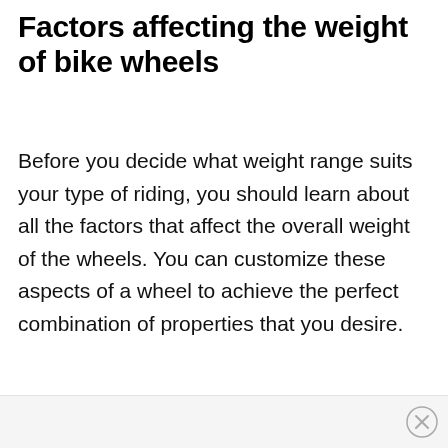Factors affecting the weight of bike wheels
Before you decide what weight range suits your type of riding, you should learn about all the factors that affect the overall weight of the wheels. You can customize these aspects of a wheel to achieve the perfect combination of properties that you desire.